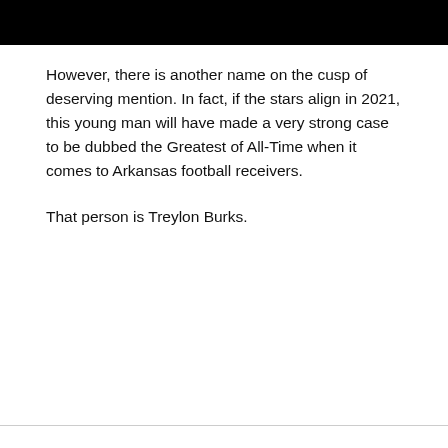[Figure (photo): Partially visible image with dark/black background at the top of the page]
However, there is another name on the cusp of deserving mention. In fact, if the stars align in 2021, this young man will have made a very strong case to be dubbed the Greatest of All-Time when it comes to Arkansas football receivers.
That person is Treylon Burks.